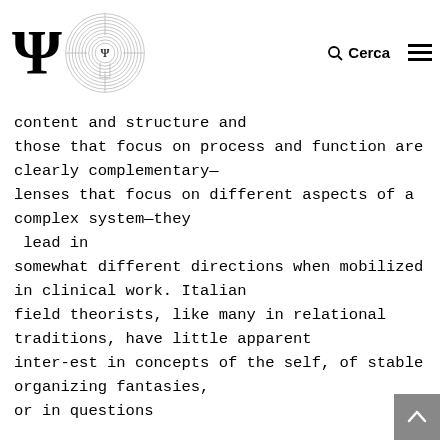Ψ [logo with labyrinth] Cerca ☰
content and structure and those that focus on process and function are clearly complementary—lenses that focus on different aspects of a complex system—they lead in somewhat different directions when mobilized in clinical work. Italian field theorists, like many in relational traditions, have little apparent inter-est in concepts of the self, of stable organizing fantasies, or in questions